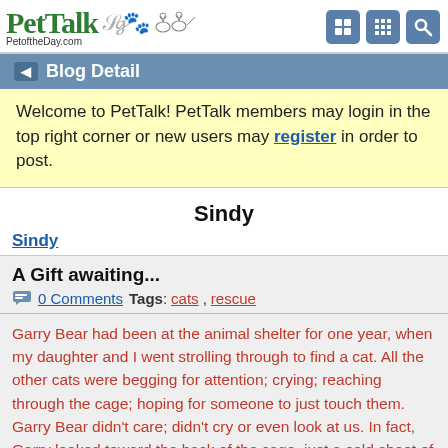PetTalk PetoftheDay.com
Blog Detail
Welcome to PetTalk! PetTalk members may login in the top right corner or new users may register in order to post.
Sindy
Sindy
A Gift awaiting...
0 Comments Tags: cats, rescue
Garry Bear had been at the animal shelter for one year, when my daughter and I went strolling through to find a cat. All the other cats were begging for attention; crying; reaching through the cage; hoping for someone to just touch them. Garry Bear didn’t care; didn’t cry or even look at us. In fact, Garry looked toward the back of the cage, just a cold sheet of steel. His heart was just like that cold bar…